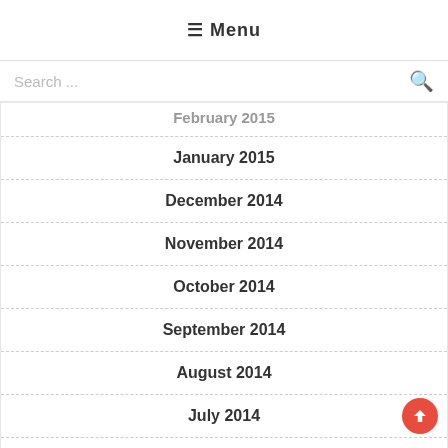☰ Menu
Search ...
February 2015
January 2015
December 2014
November 2014
October 2014
September 2014
August 2014
July 2014
June 2014
May 2014